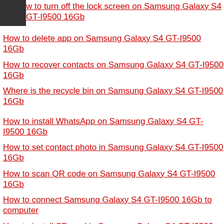How to turn off the lock screen on Samsung Galaxy S4 GT-I9500 16Gb
How to delete app on Samsung Galaxy S4 GT-I9500 16Gb
How to recover contacts on Samsung Galaxy S4 GT-I9500 16Gb
Where is the recycle bin on Samsung Galaxy S4 GT-I9500 16Gb
How to install WhatsApp on Samsung Galaxy S4 GT-I9500 16Gb
How to set contact photo in Samsung Galaxy S4 GT-I9500 16Gb
How to scan QR code on Samsung Galaxy S4 GT-I9500 16Gb
How to connect Samsung Galaxy S4 GT-I9500 16Gb to computer
How to install SD card in Samsung Galaxy S4 GT-I9500